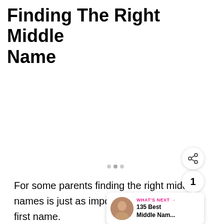Finding The Right Middle Name
For some parents finding the right middle names is just as important as finding the first name.
[Figure (other): Light gray placeholder image area with navigation dots at bottom]
WHAT'S NEXT → 135 Best Middle Nam...